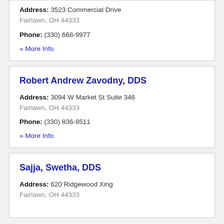Address: 3523 Commercial Drive Fairlawn, OH 44333
Phone: (330) 668-9977
» More Info
Robert Andrew Zavodny, DDS
Address: 3094 W Market St Suite 346 Fairlawn, OH 44333
Phone: (330) 836-9511
» More Info
Sajja, Swetha, DDS
Address: 620 Ridgewood Xing Fairlawn, OH 44333
Phone: (330) 724-7211